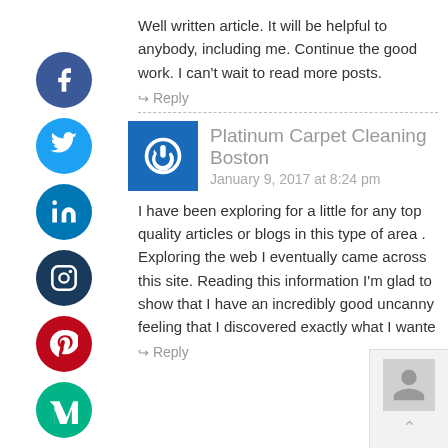Well written article. It will be helpful to anybody, including me. Continue the good work. I can't wait to read more posts.
↪ Reply
Platinum Carpet Cleaning Boston
January 9, 2017 at 8:24 pm
I have been exploring for a little for any top quality articles or blogs in this type of area . Exploring the web I eventually came across this site. Reading this information I'm glad to show that I have an incredibly good uncanny feeling that I discovered exactly what I wante
↪ Reply